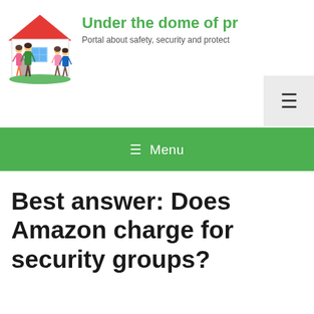[Figure (logo): Family with house illustration logo — a family of four (mother, father, boy, girl) standing in front of a house with a red roof and green lawn, in a flat/cartoon style]
Under the dome of pr
Portal about safety, security and protect
≡ Menu
Best answer: Does Amazon charge for security groups?